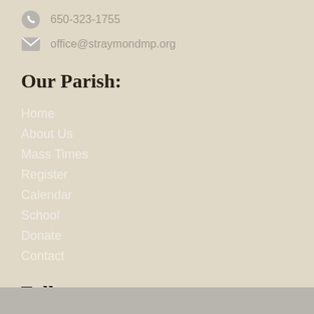650-323-1755
office@straymondmp.org
Our Parish:
Home
About Us
Mass Times
Register
Calendar
School
Donate
Contact
Follow us:
[Figure (other): Social media icons: Facebook, YouTube, Instagram, Vimeo]